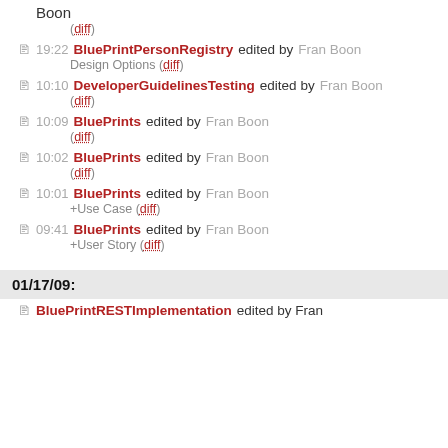Boon
(diff)
19:22 BluePrintPersonRegistry edited by Fran Boon
Design Options (diff)
10:10 DeveloperGuidelinesTesting edited by Fran Boon
(diff)
10:09 BluePrints edited by Fran Boon
(diff)
10:02 BluePrints edited by Fran Boon
(diff)
10:01 BluePrints edited by Fran Boon
+Use Case (diff)
09:41 BluePrints edited by Fran Boon
+User Story (diff)
01/17/09:
BluePrintRESTImplementation edited by Fran